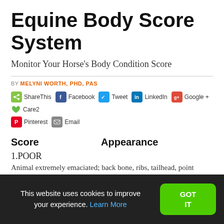Equine Body Score System
Monitor Your Horse's Body Condition Score
BY MELYNI WORTH, PHD, PAS
ShareThis  Facebook  Tweet  LinkedIn  Google +  Care2  Pinterest  Email
| Score | Appearance |
| --- | --- |
| 1.POOR | Animal extremely emaciated; back bone, ribs, tailhead, point... |
This website uses cookies to improve your experience. Learn More